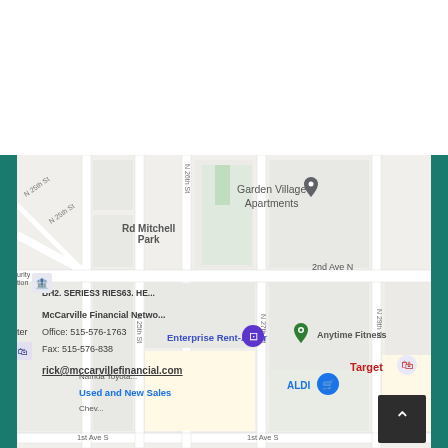[Figure (map): Google Maps view showing the area around McCarville Financial Network office. Nearby landmarks include Garden Village Apartments, Rd Mitchell Park, Enterprise Rent-A-Car, Anytime Fitness, Target, and ALDI. Streets shown include N 25th St, N 26th St, N 27th St, N 29th St, and 2nd Ave N.]
McCarville Financial Network
Office: 515-576-1763
Fax: 515-576-838
rick@mccarvillefinancial.com